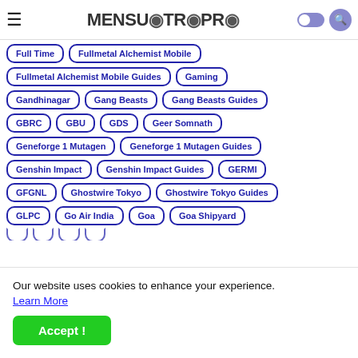MensuTroPro (logo/header with hamburger menu, dark mode toggle, search icon)
Full Time
Fullmetal Alchemist Mobile
Fullmetal Alchemist Mobile Guides
Gaming
Gandhinagar
Gang Beasts
Gang Beasts Guides
GBRC
GBU
GDS
Geer Somnath
Geneforge 1 Mutagen
Geneforge 1 Mutagen Guides
Genshin Impact
Genshin Impact Guides
GERMI
GFGNL
Ghostwire Tokyo
Ghostwire Tokyo Guides
GLPC
Go Air India
Goa
Goa Shipyard
Our website uses cookies to enhance your experience. Learn More
Accept !